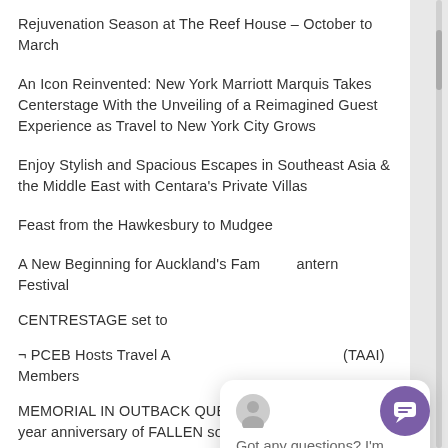Rejuvenation Season at The Reef House – October to March
An Icon Reinvented: New York Marriott Marquis Takes Centerstage With the Unveiling of a Reimagined Guest Experience as Travel to New York City Grows
Enjoy Stylish and Spacious Escapes in Southeast Asia & the Middle East with Centara's Private Villas
Feast from the Hawkesbury to Mudgee
A New Beginning for Auckland's Fam…antern Festival
CENTRESTAGE set to…
¬ PCEB Hosts Travel A… (TAAI) Members
MEMORIAL IN OUTBACK QUEENSLAND HONOURS… year anniversary of FALLEN soldier STJEPAN 'RIC… MILOSEVIC